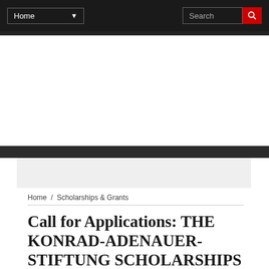Home   Search
Home / Scholarships & Grants
Call for Applications: THE KONRAD-ADENAUER-STIFTUNG SCHOLARSHIPS FOR STUDY AND